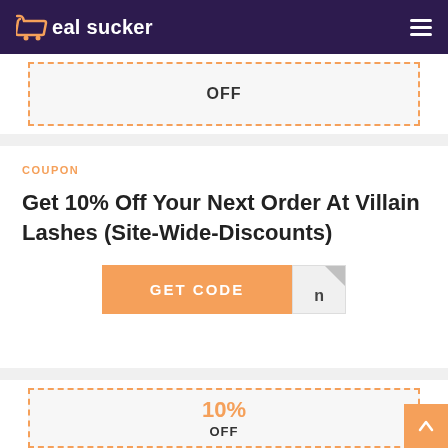deal sucker
OFF
COUPON
Get 10% Off Your Next Order At Villain Lashes (Site-Wide-Discounts)
GET CODE
10%
OFF